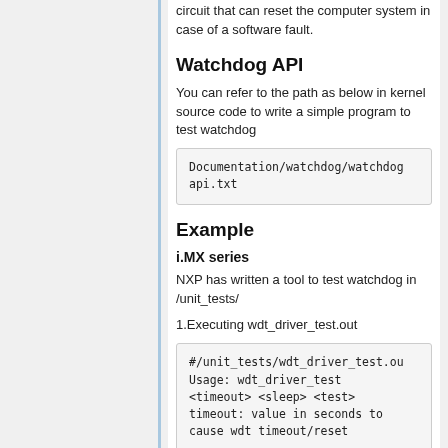circuit that can reset the computer system in case of a software fault.
Watchdog API
You can refer to the path as below in kernel source code to write a simple program to test watchdog
Documentation/watchdog/watchdog api.txt
Example
i.MX series
NXP has written a tool to test watchdog in /unit_tests/
1.Executing wdt_driver_test.out
#/unit_tests/wdt_driver_test.ou
Usage: wdt_driver_test <timeout> <sleep> <test>
timeout: value in seconds to
cause wdt timeout/reset